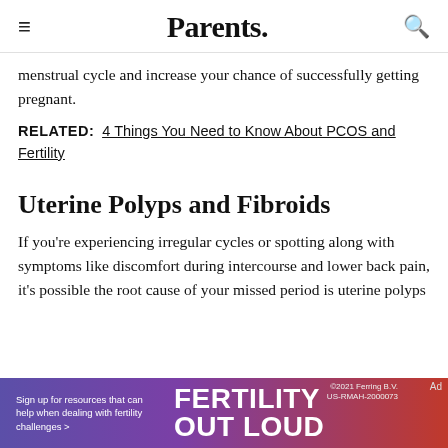Parents.
menstrual cycle and increase your chance of successfully getting pregnant.
RELATED:  4 Things You Need to Know About PCOS and Fertility
Uterine Polyps and Fibroids
If you're experiencing irregular cycles or spotting along with symptoms like discomfort during intercourse and lower back pain, it's possible the root cause of your missed period is uterine polyps
[Figure (infographic): FERTILITY OUT LOUD advertisement banner with purple/red gradient background. Text: Sign up for resources that can help when dealing with fertility challenges >  FERTILITY OUT LOUD. Small copyright text: ©2021 Ferring B.V. US-RMAH-2000073]